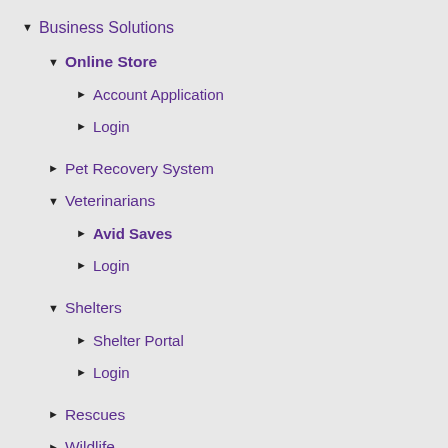▼ Business Solutions
▼ Online Store
► Account Application
► Login
► Pet Recovery System
▼ Veterinarians
► Avid Saves
► Login
▼ Shelters
► Shelter Portal
► Login
► Rescues
► Wildlife